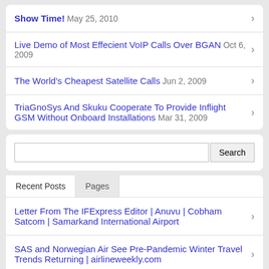Show Time! May 25, 2010
Live Demo of Most Effecient VoIP Calls Over BGAN Oct 6, 2009
The World's Cheapest Satellite Calls Jun 2, 2009
TriaGnoSys And Skuku Cooperate To Provide Inflight GSM Without Onboard Installations Mar 31, 2009
Search
Recent Posts
Pages
Letter From The IFExpress Editor | Anuvu | Cobham Satcom | Samarkand International Airport
SAS and Norwegian Air See Pre-Pandemic Winter Travel Trends Returning | airlineweekly.com